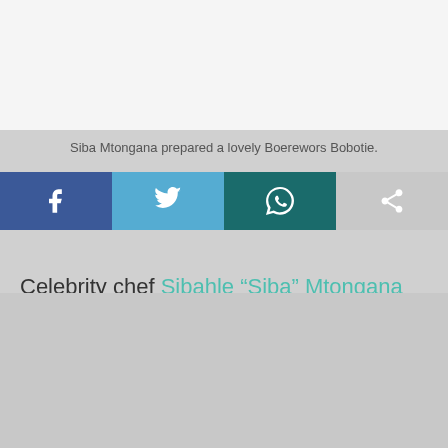[Figure (photo): Top image area showing food photo (Boerewors Bobotie), partially visible]
Siba Mtongana prepared a lovely Boerewors Bobotie.
[Figure (infographic): Social share buttons: Facebook, Twitter, WhatsApp, and generic share button]
Celebrity chef Sibahle “Siba” Mtongana has a natural charm when it comes to food. Her warm personality adds elegance to the dishes she prepares. The mother of four made her mark globally in 2013 with her award-winning television show Siba’s Table